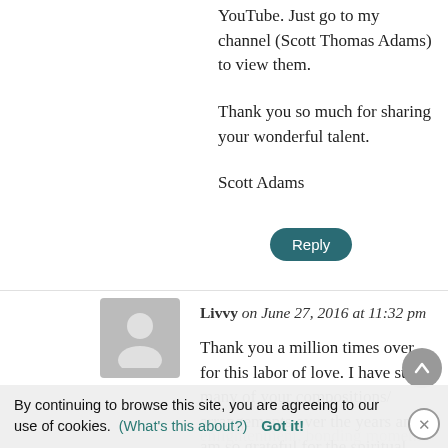YouTube. Just go to my channel (Scott Thomas Adams) to view them.

Thank you so much for sharing your wonderful talent.

Scott Adams
Reply
Livvy on June 27, 2016 at 11:32 pm
Thank you a million times over for this labor of love. I have sung many of your compositions/ arrangements over the years and am so grateful for the spiritual enlightenment, bonding moments with my family, and doctrinal truths that have we have experienced as the result of your
By continuing to browse this site, you are agreeing to our use of cookies. (What's this about?) Got it!